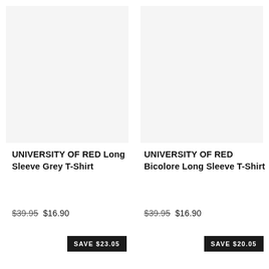[Figure (photo): Product image placeholder for UNIVERSITY OF RED Long Sleeve Grey T-Shirt]
UNIVERSITY OF RED Long Sleeve Grey T-Shirt
$39.95  $16.90
SAVE $23.05
[Figure (photo): Product image placeholder for UNIVERSITY OF RED Bicolore Long Sleeve T-Shirt]
UNIVERSITY OF RED Bicolore Long Sleeve T-Shirt
$39.95  $16.90
SAVE $20.05